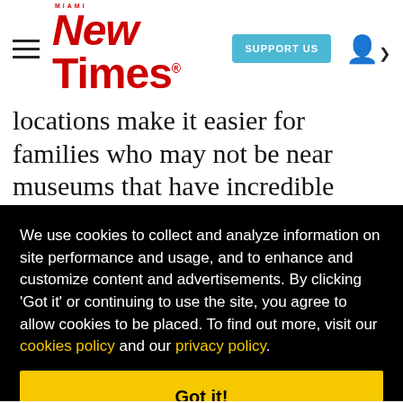Miami New Times — SUPPORT US — [user icon]
locations make it easier for families who may not be near museums that have incredible
We use cookies to collect and analyze information on site performance and usage, and to enhance and customize content and advertisements. By clicking 'Got it' or continuing to use the site, you agree to allow cookies to be placed. To find out more, visit our cookies policy and our privacy policy.
Got it!
k to